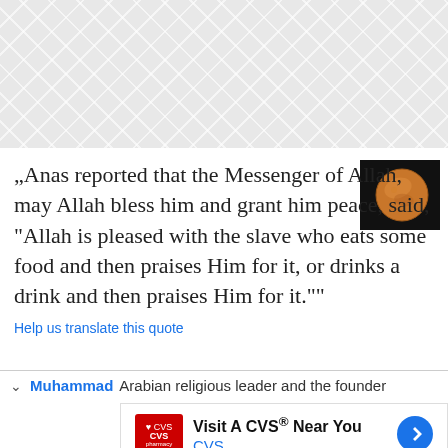[Figure (illustration): Decorative geometric hexagonal/diamond pattern background in light gray at the top of the page]
„Anas reported that the Messenger of Allah, may Allah bless him and grant him peace, said, "Allah is pleased with the slave who eats some food and then praises Him for it, or drinks a drink and then praises Him for it.""
[Figure (photo): Small thumbnail image of a planet or globe on dark background, positioned top-right of the quote]
Help us translate this quote
Muhammad Arabian religious leader and the founder
[Figure (screenshot): Advertisement for CVS pharmacy: Visit A CVS® Near You, CVS, with CVS pharmacy logo and a blue navigation arrow icon]